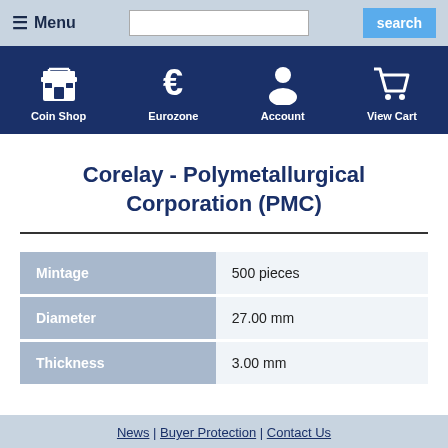Menu | search
[Figure (infographic): Navigation bar with icons: Coin Shop (storefront icon), Eurozone (euro sign icon), Account (person icon), View Cart (shopping cart icon)]
Corelay - Polymetallurgical Corporation (PMC)
|  |  |
| --- | --- |
| Mintage | 500 pieces |
| Diameter | 27.00 mm |
| Thickness | 3.00 mm |
News | Buyer Protection | Contact Us